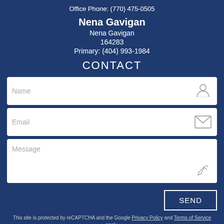Office Phone: (770) 475-0505
Nena Gavigan
Nena Gavigan
164283
Primary: (404) 993-1984
CONTACT
[Figure (screenshot): Contact form with Name, Email, and Message input fields, each with an icon on the right (person icon, envelope icon, pencil icon).]
SEND
This site is protected by reCAPTCHA and the Google Privacy Policy and Terms of Service apply.